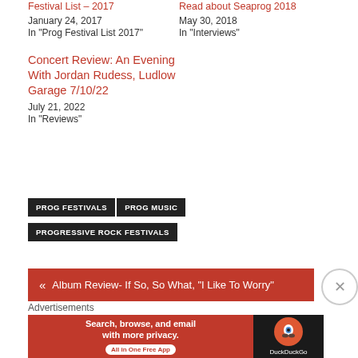Festival List – 2017
January 24, 2017
In "Prog Festival List 2017"
Read about Seaprog 2018
May 30, 2018
In "Interviews"
Concert Review: An Evening With Jordan Rudess, Ludlow Garage 7/10/22
July 21, 2022
In "Reviews"
PROG FESTIVALS
PROG MUSIC
PROGRESSIVE ROCK FESTIVALS
« Album Review- If So, So What, "I Like To Worry"
Advertisements
[Figure (infographic): DuckDuckGo advertisement banner: Search, browse, and email with more privacy. All in One Free App. DuckDuckGo logo on dark background.]